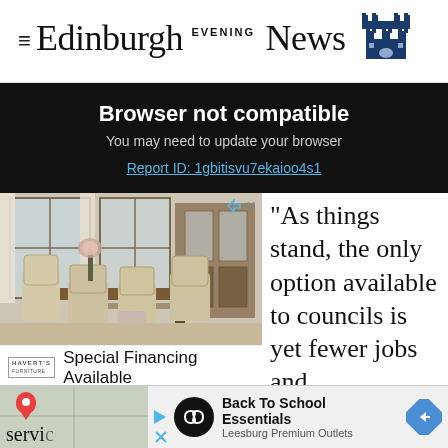Edinburgh Evening News
Browser not compatible
You may need to update your browser
Report ID: 1gbitisvu7ekaioo4s1
[Figure (photo): Furniture advertisement showing a dining room set with upholstered chairs around a wooden table, with a display cabinet in the background]
Special Financing Available
"As things stand, the only option available to councils is yet fewer jobs and
[Figure (infographic): Bottom advertisement bar with map pin icon, circular logo icon, Back To School Essentials text, Leesburg Premium Outlets, and navigation diamond arrow]